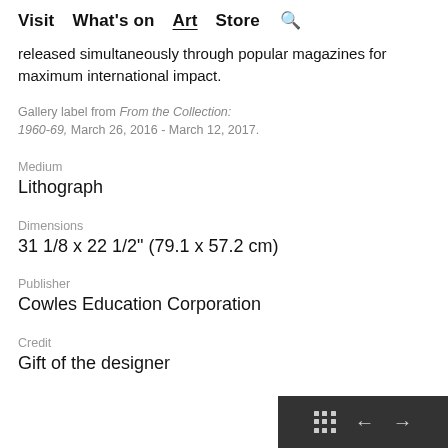Visit  What's on  Art  Store  🔍
released simultaneously through popular magazines for maximum international impact.
Gallery label from From the Collection: 1960-69, March 26, 2016 - March 12, 2017.
Medium
Lithograph
Dimensions
31 1/8 x 22 1/2" (79.1 x 57.2 cm)
Publisher
Cowles Education Corporation
Credit
Gift of the designer